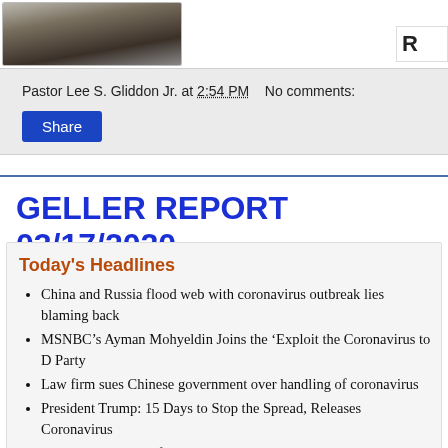[Figure (photo): Partial photo of a person, cropped, dark background]
Pastor Lee S. Gliddon Jr. at 2:54 PM   No comments:
Share
GELLER REPORT 03/17/2020
Today's Headlines
China and Russia flood web with coronavirus outbreak lies blaming back
MSNBC's Ayman Mohyeldin Joins the 'Exploit the Coronavirus to D Party
Law firm sues Chinese government over handling of coronavirus
President Trump: 15 Days to Stop the Spread, Releases Coronavirus
Biden: Cut Drilling for Oil, No More Deportations
EU President Calls for Borders to Remain Open During Coronavirus